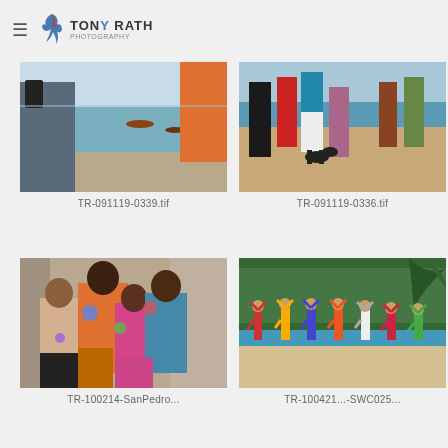Tony Rath Photography
[Figure (photo): Person photographing a beach scene with boats on the water, another person in orange shirt visible]
TR-091119-0339.tif
[Figure (photo): Group of people and a dog standing on a sandy beach]
TR-091119-0336.tif
[Figure (photo): Four girls covered in colorful paint smiling on a beach]
TR-100214-SanPedro...
[Figure (photo): Group of children doing yoga tree pose on a beach with lush green trees in background]
TR-100421...-SWC025...